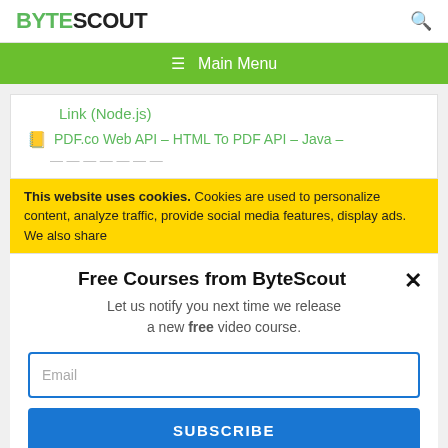BYTESCOUT
≡  Main Menu
Link (Node.js)
PDF.co Web API – HTML To PDF API – Java –
This website uses cookies. Cookies are used to personalize content, analyze traffic, provide social media features, display ads. We also share
Free Courses from ByteScout
Let us notify you next time we release a new free video course.
Email
SUBSCRIBE